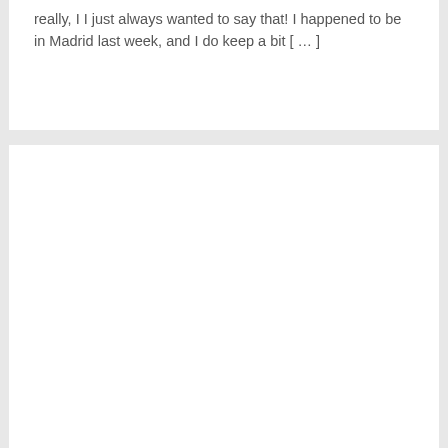really, I I just always wanted to say that! I happened to be in Madrid last week, and I do keep a bit [ … ]
[Figure (other): A large white blank rectangular area, representing an empty content card or placeholder below the text excerpt.]